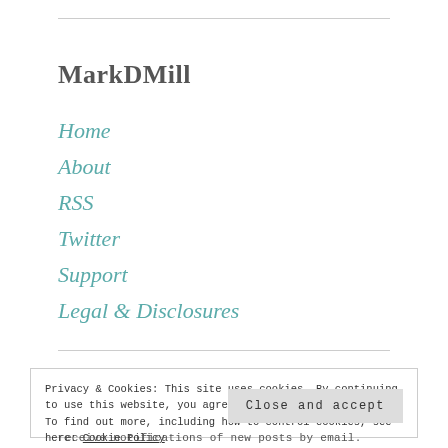MarkDMill
Home
About
RSS
Twitter
Support
Legal & Disclosures
Privacy & Cookies: This site uses cookies. By continuing to use this website, you agree to their use. To find out more, including how to control cookies, see here: Cookie Policy
Close and accept
receive notifications of new posts by email.